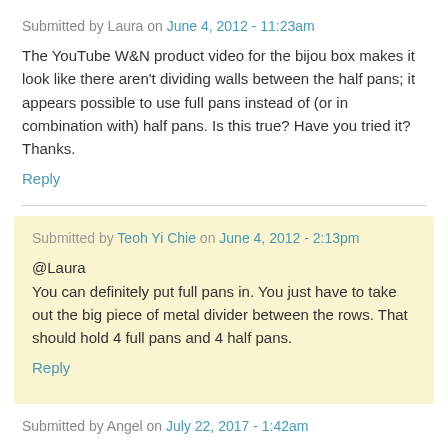Submitted by Laura on June 4, 2012 - 11:23am
The YouTube W&N product video for the bijou box makes it look like there aren't dividing walls between the half pans; it appears possible to use full pans instead of (or in combination with) half pans. Is this true? Have you tried it? Thanks.
Reply
Submitted by Teoh Yi Chie on June 4, 2012 - 2:13pm
@Laura
You can definitely put full pans in. You just have to take out the big piece of metal divider between the rows. That should hold 4 full pans and 4 half pans.
Reply
Submitted by Angel on July 22, 2017 - 1:42am
Hi, do you know any specific brand/size of travel brush that could fit in